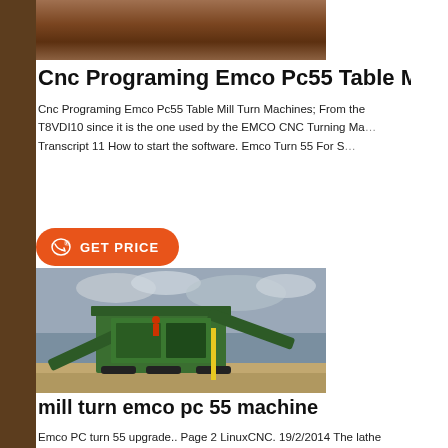[Figure (photo): Top strip showing wood/ground texture in brown tones]
Cnc Programing Emco Pc55 Table Mill
Cnc Programing Emco Pc55 Table Mill Turn Machines; From the T8VDI10 since it is the one used by the EMCO CNC Turning Ma... Transcript 11 How to start the software. Emco Turn 55 For S...
[Figure (photo): GET PRICE button with phone icon, orange pill-shaped button]
[Figure (photo): Large green industrial mining/crushing machine on a dirt site under cloudy sky]
mill turn emco pc 55 machine
Emco PC turn 55 upgrade.. Page 2 LinuxCNC. 19/2/2014 The lathe from the 'emco compact 5' I have opened the machine up and m...